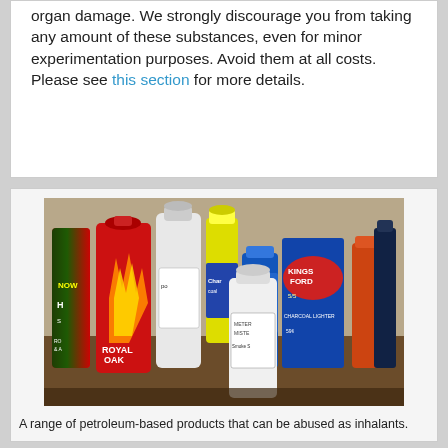organ damage. We strongly discourage you from taking any amount of these substances, even for minor experimentation purposes. Avoid them at all costs. Please see this section for more details.
[Figure (photo): A collection of petroleum-based household products arranged together, including Royal Oak charcoal lighter fluid, Kingsford charcoal lighter, Meter Mist Smoke S product, and other aerosol cans and bottles that can be abused as inhalants.]
A range of petroleum-based products that can be abused as inhalants.